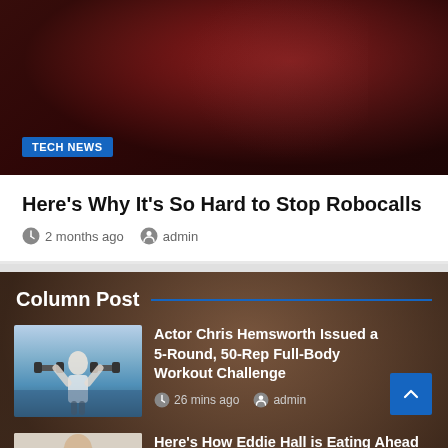[Figure (photo): Dark red hero image with shadowy silhouette background, TECH NEWS badge overlay]
Here's Why It's So Hard to Stop Robocalls
2 months ago  admin
Column Post
[Figure (photo): Thumbnail of person lifting weights/dumbbells outdoors near water]
Actor Chris Hemsworth Issued a 5-Round, 50-Rep Full-Body Workout Challenge
26 mins ago  admin
[Figure (photo): Thumbnail of Eddie Hall sitting at a table with food]
Here's How Eddie Hall is Eating Ahead of His Return to Strongman in 2022
2 hours ago  admin